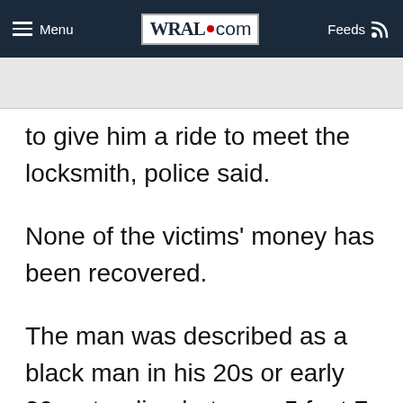WRAL.com — Menu | Feeds
to give him a ride to meet the locksmith, police said.
None of the victims' money has been recovered.
The man was described as a black man in his 20s or early 30s, standing between 5 feet 7 inches and 5 feet 9 inches tall. He has a slender build and was well dressed.